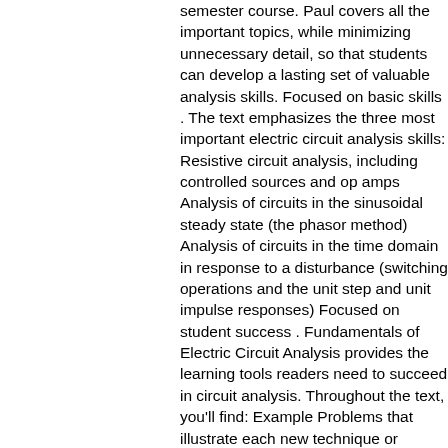semester course. Paul covers all the important topics, while minimizing unnecessary detail, so that students can develop a lasting set of valuable analysis skills. Focused on basic skills . The text emphasizes the three most important electric circuit analysis skills: Resistive circuit analysis, including controlled sources and op amps Analysis of circuits in the sinusoidal steady state (the phasor method) Analysis of circuits in the time domain in response to a disturbance (switching operations and the unit step and unit impulse responses) Focused on student success . Fundamentals of Electric Circuit Analysis provides the learning tools readers need to succeed in circuit analysis. Throughout the text, you'll find: Example Problems that illustrate each new technique or concept Exercise Problems that allow readers to apply what they've learned Real-world application examples Coverage of circuit analysis tools, such as Spice (PSpice) and Matlab Focused on quality . Maintaining a firm commitment to quality, the author has meticulously reviewed all text material, problems, and solutions. The result is a text that offers accurate content, not distracting errors.